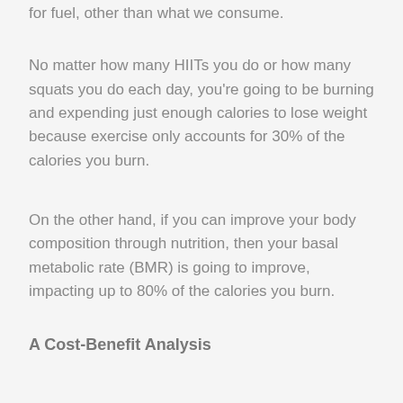choices, nothing else is providing our body energy for fuel, other than what we consume.
No matter how many HIITs you do or how many squats you do each day, you're going to be burning and expending just enough calories to lose weight because exercise only accounts for 30% of the calories you burn.
On the other hand, if you can improve your body composition through nutrition, then your basal metabolic rate (BMR) is going to improve, impacting up to 80% of the calories you burn.
A Cost-Benefit Analysis